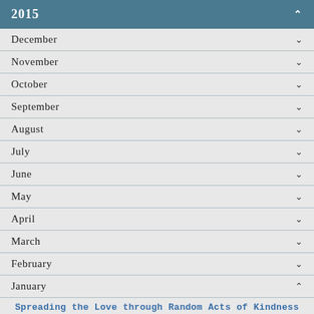2015
December
November
October
September
August
July
June
May
April
March
February
January
Spreading the Love through Random Acts of Kindness
Survey
Which component is a “must-have” for your event? Choose up to 3 answers.
Engaging entertainment (face painters, DJ, bounce houses)
Complimentary food for participants